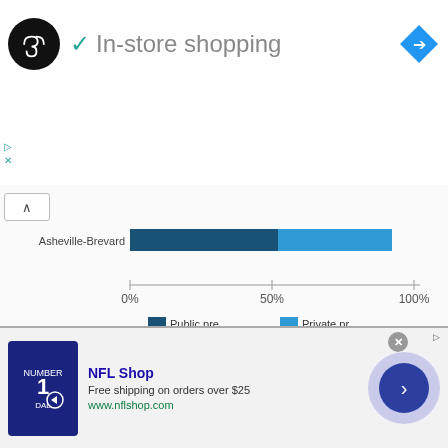[Figure (screenshot): Advertisement banner showing a circular logo with infinity-like symbol, green checkmark, 'In-store shopping' text, and a blue diamond navigation icon]
[Figure (bar-chart): Asheville-Brevard school type chart]
Figure 23: List of Schools in the 30568, GA Area (2013)
|  | School District | School Level | Grade Range | Magnet Scho... |
| --- | --- | --- | --- | --- |
|  | Macon County Schools | Other | 6 to 12 | No |
|  | Towns County | High School | 9 to 12 | No |
[Figure (screenshot): NFL Shop advertisement with jersey image, 'Free shipping on orders over $25', www.nflshop.com, arrow navigation button]